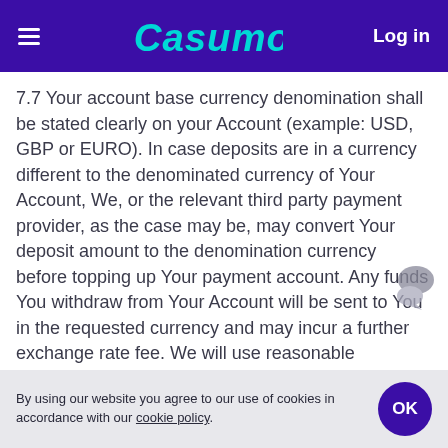Casumo | Log in
7.7 Your account base currency denomination shall be stated clearly on your Account (example: USD, GBP or EURO). In case deposits are in a currency different to the denominated currency of Your Account, We, or the relevant third party payment provider, as the case may be, may convert Your deposit amount to the denomination currency before topping up Your payment account. Any funds You withdraw from Your Account will be sent to You in the requested currency and may incur a further exchange rate fee. We will use reasonable endeavours to ensure the conversion is clear and transparent to You and that any
By using our website you agree to our use of cookies in accordance with our cookie policy.